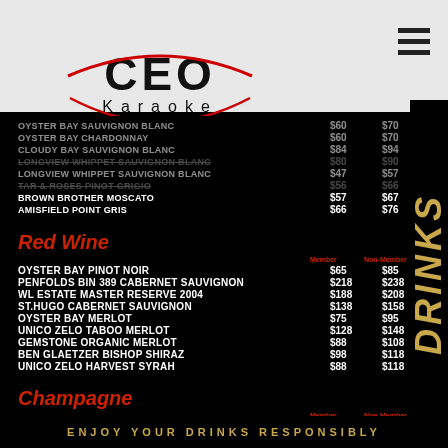[Figure (logo): CEO Karaoke logo with arc/swoosh design]
White Wine
| Item | Member | Non-Member |
| --- | --- | --- |
| OYSTER BAY SAUVIGNON BLANC | $60 | $70 |
| OYSTER BAY CHARDONNAY | $60 | $70 |
| CLOUDY BAY SAUVIGNON BLANC | $84 | $94 |
| LONGVIEW WHIPPET SAUVIGNON BLANC | $80 | $90 |
| LONGVIEW WHIPPET SAUVIGNON BLANC | $47 | $57 |
| TAR & ROSES PINOT GRIGIO | $56 | $66 |
| BROWN BROTHER MOSCATO | $57 | $67 |
| AMISFIELD POINT GRIS | $66 | $76 |
Red Wine
| Item | Member | Non-Member |
| --- | --- | --- |
| OYSTER BAY PINOT NOIR | $65 | $85 |
| PENFOLDS BIN 389 CABERNET SAUVIGNON | $218 | $238 |
| WL ESTATE MASTER RESERVE 2004 | $188 | $208 |
| ST.HUGO CABERNET SAUVIGNON | $138 | $158 |
| OYSTER BAY MERLOT | $75 | $95 |
| UNICO ZELO TABOO MERLOT | $128 | $148 |
| GEMSTONE ORGANIC MERLOT | $88 | $108 |
| BEN GLAETZER BISHOP SHIRAZ | $98 | $118 |
| UNICO ZELO HARVEST SYRAH | $88 | $118 |
Champagne
| Item | Member | Non-Member |
| --- | --- | --- |
| BOLLINGERS S C BRUT | $238 | $278 |
| VEUVE CLICQUOT | $218 | $258 |
| CHANDON S/GLASS | $118/$22 | $138 |
| CHANDON BRUT ROSE/GLASS | $118/$22 | $138 |
| MOET CHANDON ICE IMPERIAL | $190 | $210 |
ENJOY YOUR DRINKS RESPONSIBLY